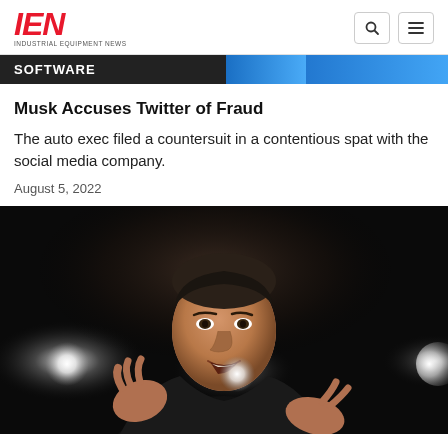IEN INDUSTRIAL EQUIPMENT NEWS
SOFTWARE
Musk Accuses Twitter of Fraud
The auto exec filed a countersuit in a contentious spat with the social media company.
August 5, 2022
[Figure (photo): Photo of a man (Elon Musk) in a dark suit gesturing with both hands, speaking against a dark background with bright stage lights visible]